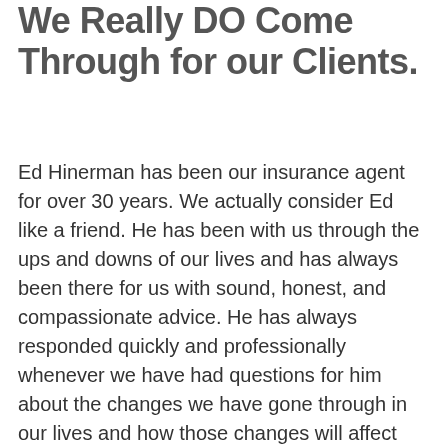We Really DO Come Through for our Clients.
Ed Hinerman has been our insurance agent for over 30 years. We actually consider Ed like a friend. He has been with us through the ups and downs of our lives and has always been there for us with sound, honest, and compassionate advice. He has always responded quickly and professionally whenever we have had questions for him about the changes we have gone through in our lives and how those changes will affect our future as far as insurance. Bottom line is, we trust Ed to do what is best for us. We think that you can trust Ed and the Hinermangroup to do their best for you too.